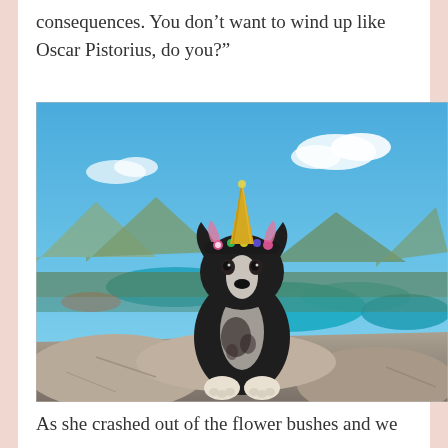consequences. You don’t want to wind up like Oscar Pistorius, do you?”
[Figure (photo): A dog wearing a unicorn horn headband with colorful flowers and pink ears, sitting on rocky mountain summit with a panoramic view of mountains, forests, and turquoise lake water visible in the background under a blue sky with white clouds.]
As she crashed out of the flower bushes and we